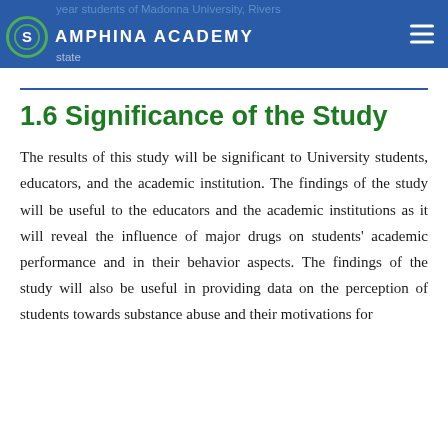year students of Madonna University, Rivers state — AMPHINA ACADEMY
1.6 Significance of the Study
The results of this study will be significant to University students, educators, and the academic institution. The findings of the study will be useful to the educators and the academic institutions as it will reveal the influence of major drugs on students' academic performance and in their behavior aspects. The findings of the study will also be useful in providing data on the perception of students towards substance abuse and their motivations for